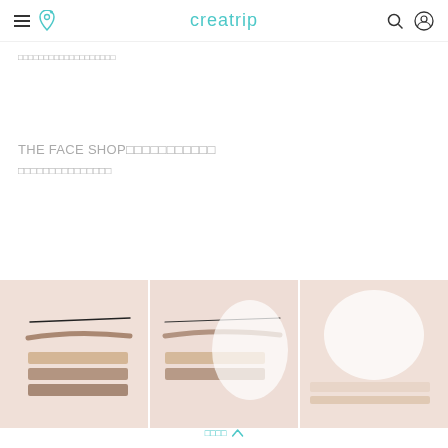creatrip
□□□□□□□□□□□□□□□□□□□
THE FACE SHOP□□□□□□□□□□□
□□□□□□□□□□□□□□□
[Figure (photo): Three side-by-side product swatch images showing eyebrow and skin product swatches on a pink/peach background]
□□□□ ∧